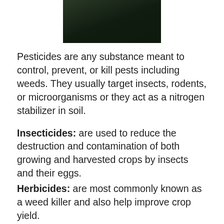[Figure (photo): Dark green textured surface, possibly a close-up of a plant or agricultural field]
Pesticides are any substance meant to control, prevent, or kill pests including weeds. They usually target insects, rodents, or microorganisms or they act as a nitrogen stabilizer in soil.
Insecticides: are used to reduce the destruction and contamination of both growing and harvested crops by insects and their eggs.
Herbicides: are most commonly known as a weed killer and also help improve crop yield.
Rodenticides: are important for controlling the destruction of crops by rodents and